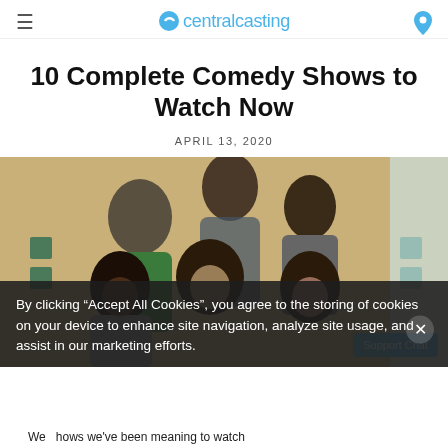centralcasting
10 Complete Comedy Shows to Watch Now
APRIL 13, 2020
[Figure (photo): Promotional photo of cast of a TV comedy show — five young people crowded together in a bathroom setting, including a man in green shirt brushing teeth, a man scratching his head, a young Black man in grey shirt, a woman with dark bangs smiling, and a woman with dark hair on the phone.]
By clicking “Accept All Cookies”, you agree to the storing of cookies on your device to enhance site navigation, analyze site usage, and assist in our marketing efforts.
We  hows we've been meaning to watch